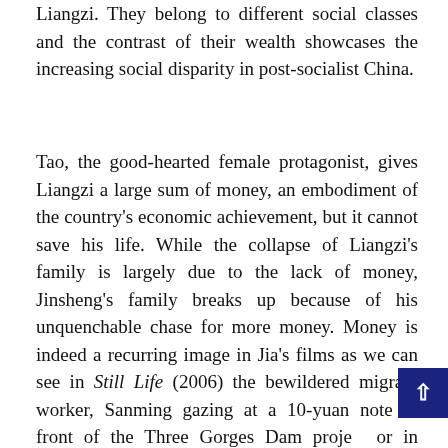Liangzi. They belong to different social classes and the contrast of their wealth showcases the increasing social disparity in post-socialist China.
Tao, the good-hearted female protagonist, gives Liangzi a large sum of money, an embodiment of the country's economic achievement, but it cannot save his life. While the collapse of Liangzi's family is largely due to the lack of money, Jinsheng's family breaks up because of his unquenchable chase for more money. Money is indeed a recurring image in Jia's films as we can see in Still Life (2006) the bewildered migrant worker, Sanming gazing at a 10-yuan note in front of the Three Gorges Dam project or in Unknown Pleasures the aimless youth, Binbin and his laid-off mother checking